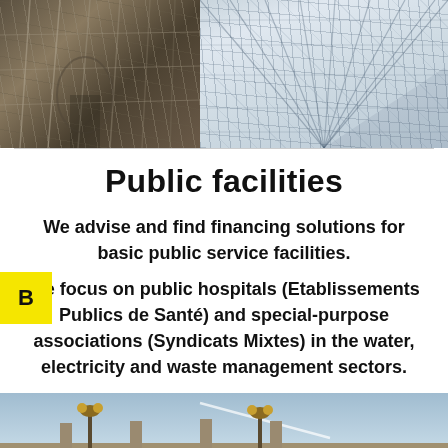[Figure (photo): Left: scaffolding on a historic stone building facade. Right: interior of a large glass-and-steel arched roof structure (railway station or gallery).]
Public facilities
We advise and find financing solutions for basic public service facilities.
We focus on public hospitals (Etablissements Publics de Santé) and special-purpose associations (Syndicats Mixtes) in the water, electricity and waste management sectors.
[Figure (photo): Classic ornate building facade with decorative lampposts against a blue sky.]